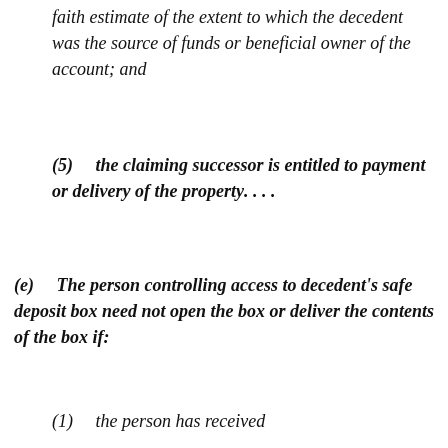faith estimate of the extent to which the decedent was the source of funds or beneficial owner of the account; and
(5)    the claiming successor is entitled to payment or delivery of the property. . . .
(e)    The person controlling access to decedent's safe deposit box need not open the box or deliver the contents of the box if:
(1)    the person has received